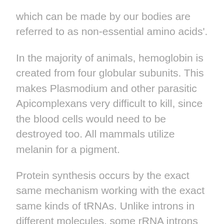which can be made by our bodies are referred to as non-essential amino acids'.
In the majority of animals, hemoglobin is created from four globular subunits. This makes Plasmodium and other parasitic Apicomplexans very difficult to kill, since the blood cells would need to be destroyed too. All mammals utilize melanin for a pigment.
Protein synthesis occurs by the exact same mechanism working with the exact same kinds of tRNAs. Unlike introns in different molecules, some rRNA introns have a distinctive characteristic they're self-splicing. Genes are located in our cells. Structural genes have the information essential to make the real proteins necessary for work.